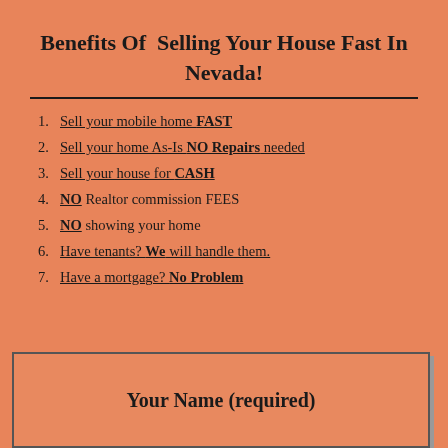Benefits Of Selling Your House Fast In Nevada!
Sell your mobile home FAST
Sell your home As-Is NO Repairs needed
Sell your house for CASH
NO Realtor commission FEES
NO showing your home
Have tenants? We will handle them.
Have a mortgage? No Problem
Your Name (required)